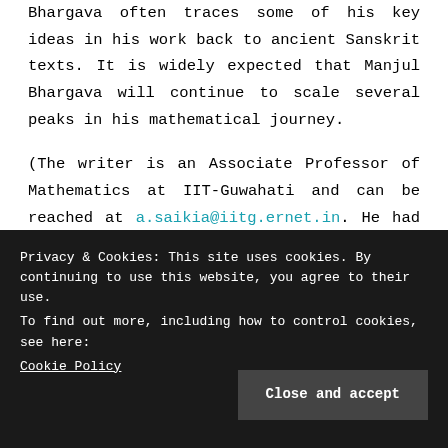Bhargava often traces some of his key ideas in his work back to ancient Sanskrit texts. It is widely expected that Manjul Bhargava will continue to scale several peaks in his mathematical journey.
(The writer is an Associate Professor of Mathematics at IIT-Guwahati and can be reached at a.saikia@iitg.ernet.in. He had previously given an interview for Gonit Sora, which can be read here.)
Privacy & Cookies: This site uses cookies. By continuing to use this website, you agree to their use.
To find out more, including how to control cookies, see here:
Cookie Policy